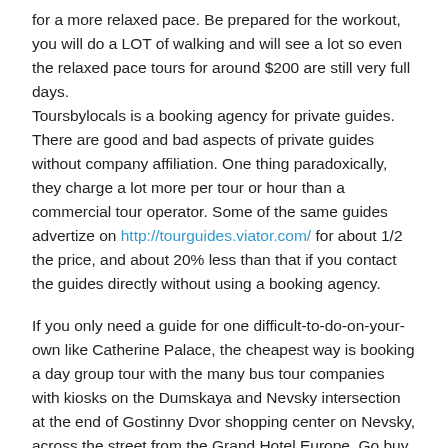for a more relaxed pace. Be prepared for the workout, you will do a LOT of walking and will see a lot so even the relaxed pace tours for around $200 are still very full days. Toursbylocals is a booking agency for private guides. There are good and bad aspects of private guides without company affiliation. One thing paradoxically, they charge a lot more per tour or hour than a commercial tour operator. Some of the same guides advertize on http://tourguides.viator.com/ for about 1/2 the price, and about 20% less than that if you contact the guides directly without using a booking agency.
If you only need a guide for one difficult-to-do-on-your-own like Catherine Palace, the cheapest way is booking a day group tour with the many bus tour companies with kiosks on the Dumskaya and Nevsky intersection at the end of Gostinny Dvor shopping center on Nevsky, across the street from the Grand Hotel Europe. Go buy passage before 10am and two tours a day go. The reason for booking one of these, besides the lower price but it means you can even get a ticket. During the summer you